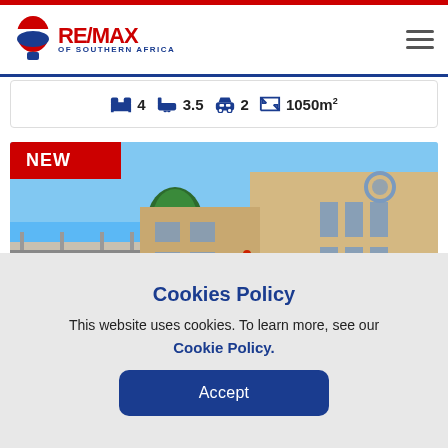RE/MAX OF SOUTHERN AFRICA
4  3.5  2  1050m²
[Figure (photo): Exterior photo of a residential property with yellow brick facade, trees, blue sky, and a NEW badge overlay]
Cookies Policy
This website uses cookies. To learn more, see our Cookie Policy.
Accept